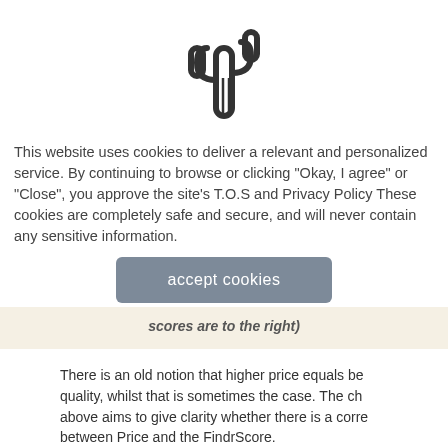[Figure (logo): Cactus icon logo in outline style]
This website uses cookies to deliver a relevant and personalized service. By continuing to browse or clicking "Okay, I agree" or "Close", you approve the site's T.O.S and Privacy Policy These cookies are completely safe and secure, and will never contain any sensitive information.
accept cookies
scores are to the right)
There is an old notion that higher price equals be quality, whilst that is sometimes the case. The ch above aims to give clarity whether there is a corre between Price and the FindrScore.